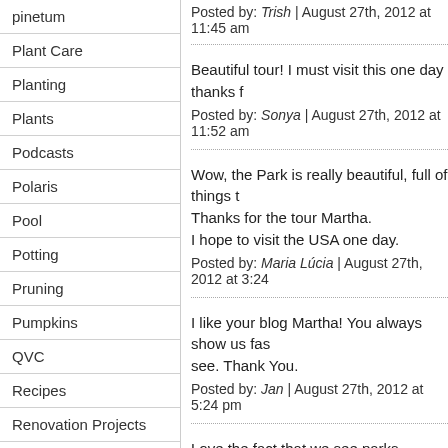pinetum
Plant Care
Planting
Plants
Podcasts
Polaris
Pool
Potting
Pruning
Pumpkins
QVC
Recipes
Renovation Projects
Repairs
Roses
Shoes
Skylands
Posted by: Trish | August 27th, 2012 at 11:45 am
Beautiful tour! I must visit this one day thanks f
Posted by: Sonya | August 27th, 2012 at 11:52 am
Wow, the Park is really beautiful, full of things t Thanks for the tour Martha. I hope to visit the USA one day.
Posted by: Maria Lúcia | August 27th, 2012 at 3:24
I like your blog Martha! You always show us fas see. Thank You.
Posted by: Jan | August 27th, 2012 at 5:24 pm
Love the fact that we see parks, gardens, busi